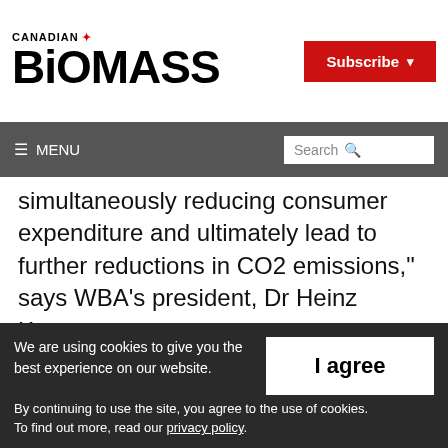CANADIAN BIOMASS
simultaneously reducing consumer expenditure and ultimately lead to further reductions in CO2 emissions,” says WBA’s president, Dr Heinz Kopetz.
In recent years there have been impressive technological advancements, both by industry
We are using cookies to give you the best experience on our website. By continuing to use the site, you agree to the use of cookies. To find out more, read our privacy policy.